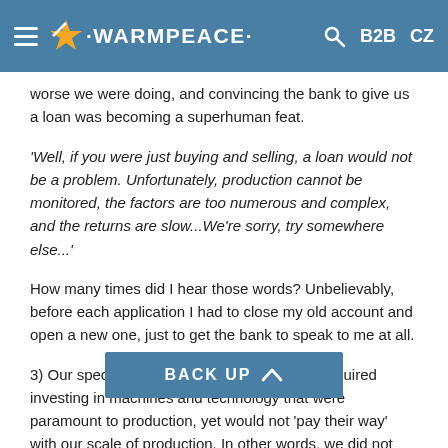WARMPEACE | B2B | CZ
worse we were doing, and convincing the bank to give us a loan was becoming a superhuman feat.
‘Well, if you were just buying and selling, a loan would not be a problem. Unfortunately, production cannot be monitored, the factors are too numerous and complex, and the returns are slow...We’re sorry, try somewhere else...’
How many times did I hear those words? Unbelievably, before each application I had to close my old account and open a new one, just to get the bank to speak to me at all.
3) Our specialised and technical equipment required investing in machines and technology that were paramount to production, yet would not ‘pay their way’ with our scale of production. In other words, we did not have enough production volumes to cover the cost of buying a new machine, however important it was for production. On the other hand, not investing in this technology would mean lagging behind the market and